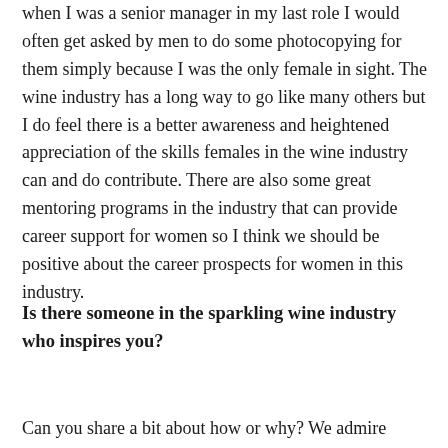when I was a senior manager in my last role I would often get asked by men to do some photocopying for them simply because I was the only female in sight. The wine industry has a long way to go like many others but I do feel there is a better awareness and heightened appreciation of the skills females in the wine industry can and do contribute. There are also some great mentoring programs in the industry that can provide career support for women so I think we should be positive about the career prospects for women in this industry.
Is there someone in the sparkling wine industry who inspires you?
Can you share a bit about how or why? We admire